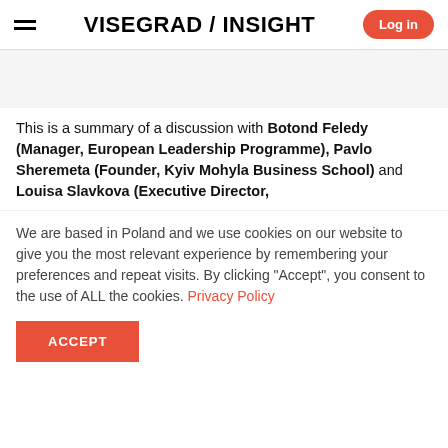VISEGRAD / INSIGHT
This is a summary of a discussion with Botond Feledy (Manager, European Leadership Programme), Pavlo Sheremeta (Founder, Kyiv Mohyla Business School) and Louisa Slavkova (Executive Director,
We are based in Poland and we use cookies on our website to give you the most relevant experience by remembering your preferences and repeat visits. By clicking "Accept", you consent to the use of ALL the cookies. Privacy Policy
ACCEPT